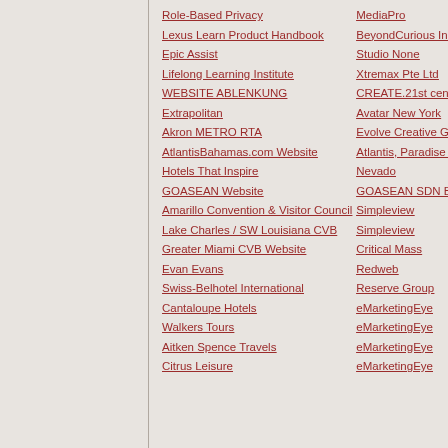Role-Based Privacy
MediaPro
Lexus Learn Product Handbook
BeyondCurious Inc.
Epic Assist
Studio None
Lifelong Learning Institute
Xtremax Pte Ltd
WEBSITE ABLENKUNG
CREATE.21st century
Extrapolitan
Avatar New York
Akron METRO RTA
Evolve Creative Group
AtlantisBahamas.com Website
Atlantis, Paradise Island, Baha
Hotels That Inspire
Nevado
GOASEAN Website
GOASEAN SDN BHD
Amarillo Convention & Visitor Council
Simpleview
Lake Charles / SW Louisiana CVB
Simpleview
Greater Miami CVB Website
Critical Mass
Evan Evans
Redweb
Swiss-Belhotel International
Reserve Group
Cantaloupe Hotels
eMarketingEye
Walkers Tours
eMarketingEye
Aitken Spence Travels
eMarketingEye
Citrus Leisure
eMarketingEye